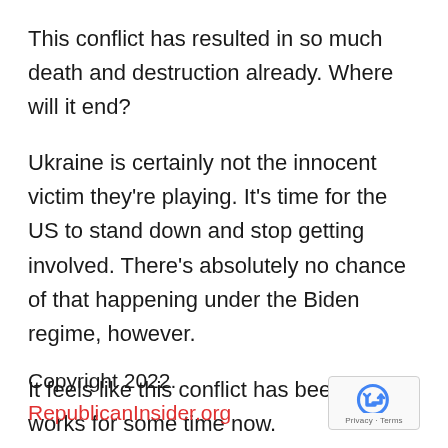This conflict has resulted in so much death and destruction already. Where will it end?
Ukraine is certainly not the innocent victim they're playing. It's time for the US to stand down and stop getting involved. There's absolutely no chance of that happening under the Biden regime, however.
It feels like this conflict has been in the works for some time now.
Copyright 2022. RepublicanInsider.org